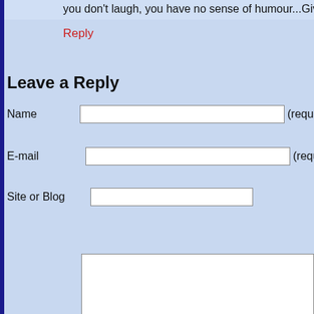you don't laugh, you have no sense of humour...Give m
Reply
Leave a Reply
Name (required)
E-mail (required)
Site or Blog
Your Comment
You may use these HTML tags and attributes: <a href="" tit title=""> <b> <blockquote cite=""> <cite> <code> <del dat <strike> <strong>